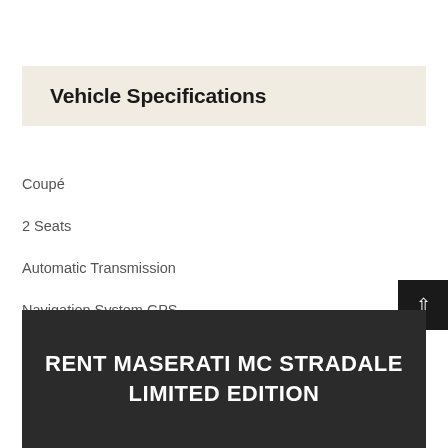Vehicle Specifications
Coupé
2 Seats
Automatic Transmission
Navigation System GPS
RENT MASERATI MC STRADALE LIMITED EDITION